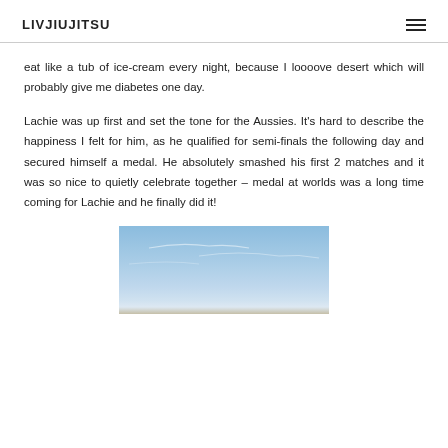LIVJIUJITSU
eat like a tub of ice-cream every night, because I loooove desert which will probably give me diabetes one day.
Lachie was up first and set the tone for the Aussies. It’s hard to describe the happiness I felt for him, as he qualified for semi-finals the following day and secured himself a medal. He absolutely smashed his first 2 matches and it was so nice to quietly celebrate together – medal at worlds was a long time coming for Lachie and he finally did it!
[Figure (photo): A photo showing a blue sky with faint wispy clouds and a pale horizon at the bottom.]